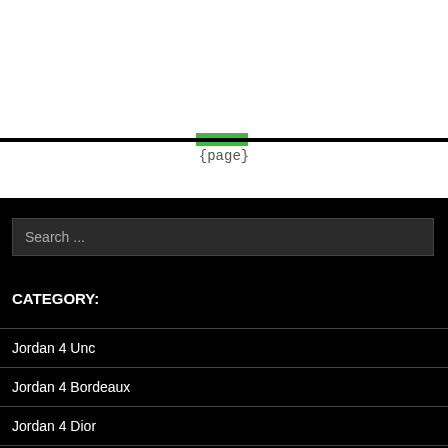{page}
Search ...
CATEGORY:
Jordan 4 Unc
Jordan 4 Bordeaux
Jordan 4 Dior
Jordan 4 Youth 6